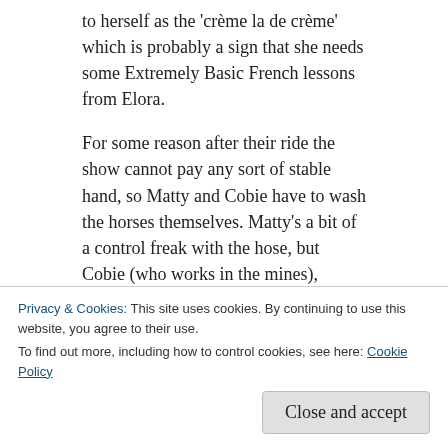to herself as the ‘crème la de crème’ which is probably a sign that she needs some Extremely Basic French lessons from Elora.
For some reason after their ride the show cannot pay any sort of stable hand, so Matty and Cobie have to wash the horses themselves. Matty’s a bit of a control freak with the hose, but Cobie (who works in the mines), confidently asserts ‘I wash coal, I’m sure I can wash a horse’. Everyone relaxes once they head inside and devour some lovingly product-placed Johnnie Walker, in fact Cobie is so very relaxed she decides to recite a poem she has written
Privacy & Cookies: This site uses cookies. By continuing to use this website, you agree to their use.
To find out more, including how to control cookies, see here: Cookie Policy
Close and accept
[Figure (photo): Bottom strip showing a partial photograph of people]